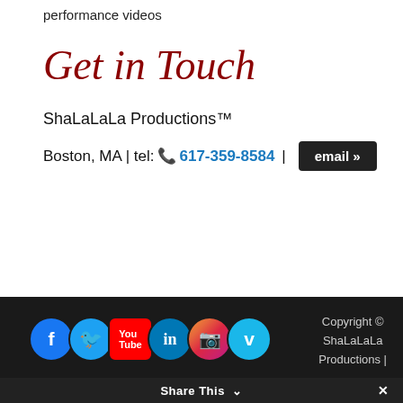performance videos
Get in Touch
ShaLaLaLa Productions™
Boston, MA | tel: 617-359-8584 | email »
[Figure (logo): Row of circular social media icons: Facebook (blue, f), Twitter (light blue, bird), YouTube (red, You Tube), LinkedIn (blue, in), Instagram (gradient, camera), Vimeo (light blue, v)]
Copyright © ShaLaLaLa Productions |
Designed by Tactical Engine
Share This ∨  ✕